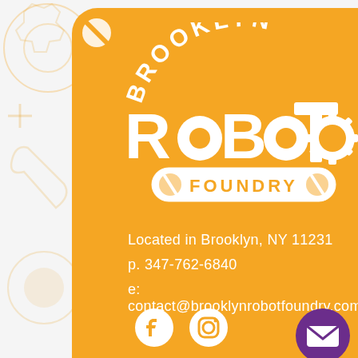[Figure (logo): Brooklyn Robot Foundry logo on orange background with decorative background shapes]
Located in Brooklyn, NY 11231
p. 347-762-6840
e: contact@brooklynrobotfoundry.com
[Figure (illustration): Facebook and Instagram social media icons in white, plus a purple email circle button at bottom right]